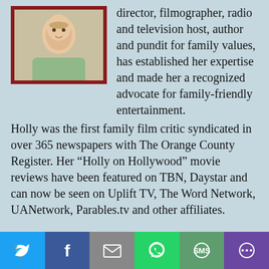[Figure (photo): Portrait photo of a woman with a dark red/maroon border frame]
director, filmographer, radio and television host, author and pundit for family values, has established her expertise and made her a recognized advocate for family-friendly entertainment.
Holly was the first family film critic syndicated in over 365 newspapers with The Orange County Register. Her “Holly on Hollywood” movie reviews have been featured on TBN, Daystar and can now be seen on Uplift TV, The Word Network, UANetwork, Parables.tv and other affiliates.
In 2002, Mel Gibson asked Holly to come to Italy and film the behind-the-scenes interviews for The Passion of the Christ. She produced a one hour special The Making of The Passion of the Christ
[Figure (other): Social sharing footer bar with Twitter, Facebook, Email, WhatsApp, SMS, and More buttons]